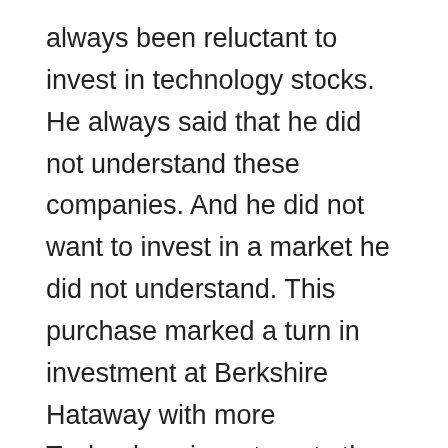always been reluctant to invest in technology stocks. He always said that he did not understand these companies. And he did not want to invest in a market he did not understand. This purchase marked a turn in investment at Berkshire Hataway with more Technology investments than before. Since that point, he also invested heavily in Apple. In 2018, Apple and IBM were two of the top five investments of Berkshire Hataway, before they sold all IBM shares.
In 2012, he bought Media General, a corporation of more than 60 newspapers. And in 2013, he purchased the Press of Atlantic City, yet another